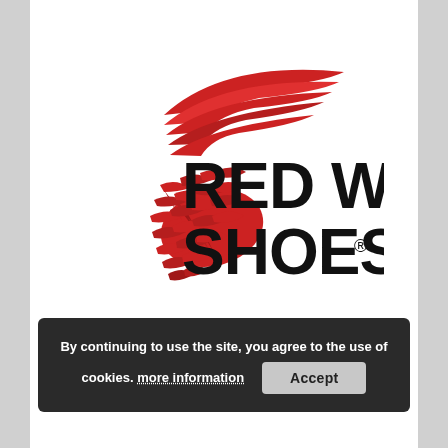[Figure (logo): Red Wing Shoes logo: large bold black text 'RED WING SHOES®' with a red stylized wing graphic overlapping the letters, including feather details at the bottom.]
By continuing to use the site, you agree to the use of cookies. more information  Accept